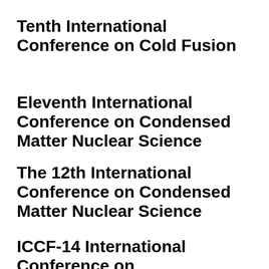Tenth International Conference on Cold Fusion
Eleventh International Conference on Condensed Matter Nuclear Science
The 12th International Conference on Condensed Matter Nuclear Science
ICCF-14 International Conference on